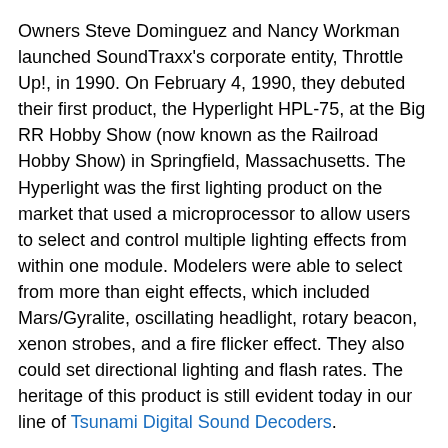Owners Steve Dominguez and Nancy Workman launched SoundTraxx's corporate entity, Throttle Up!, in 1990. On February 4, 1990, they debuted their first product, the Hyperlight HPL-75, at the Big RR Hobby Show (now known as the Railroad Hobby Show) in Springfield, Massachusetts. The Hyperlight was the first lighting product on the market that used a microprocessor to allow users to select and control multiple lighting effects from within one module. Modelers were able to select from more than eight effects, which included Mars/Gyralite, oscillating headlight, rotary beacon, xenon strobes, and a fire flicker effect. They also could set directional lighting and flash rates. The heritage of this product is still evident today in our line of Tsunami Digital Sound Decoders.
The Hyperlight is one of many industry "firsts" that
[Figure (photo): Photo of the Hyperlight HPL-75 module with multiple wires extending from a small circuit board, shown on a gray background.]